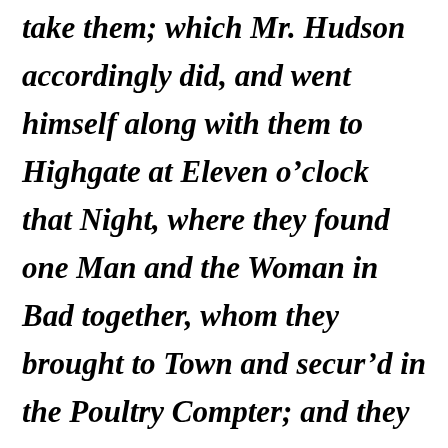take them; which Mr. Hudson accordingly did, and went himself along with them to Highgate at Eleven o’clock that Night, where they found one Man and the Woman in Bad together, whom they brought to Town and secur’d in the Poultry Compter; and they were on Thursday carried before Sir Richard Brocas and examin’d separately, where